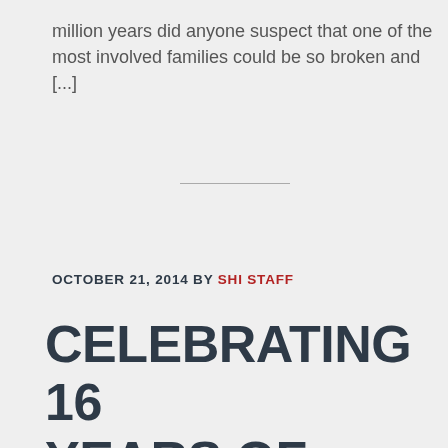million years did anyone suspect that one of the most involved families could be so broken and [...]
OCTOBER 21, 2014 BY SHI STAFF
CELEBRATING 16 YEARS OF HOPE –